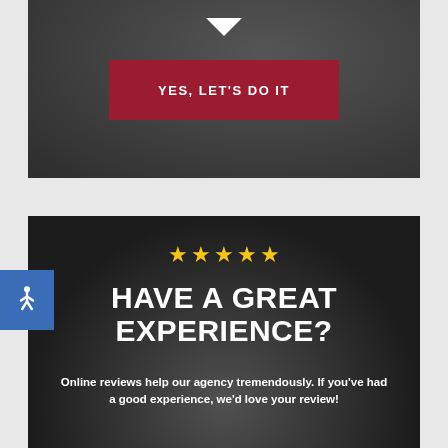[Figure (screenshot): Dark background with keyboard, showing a red CTA button labeled YES, LET'S DO IT and a white chevron/arrow icon above it]
YES, LET'S DO IT
[Figure (screenshot): Dark overlay image of businessman hands with five gold stars and text: HAVE A GREAT EXPERIENCE? Online reviews help our agency tremendously. If you've had a good experience, we'd love your review!]
HAVE A GREAT EXPERIENCE?
Online reviews help our agency tremendously. If you've had a good experience, we'd love your review!